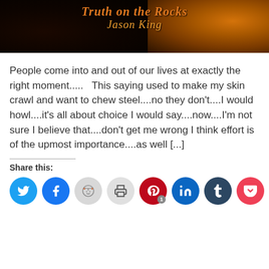[Figure (illustration): Book cover image for 'Truth on the Rocks' by Jason King, showing whiskey glasses with ice on a dark background, title in italic orange/amber text]
People come into and out of our lives at exactly the right moment.....   This saying used to make my skin crawl and want to chew steel....no they don't....I would howl....it's all about choice I would say....now....I'm not sure I believe that....don't get me wrong I think effort is of the upmost importance....as well [...]
Share this: